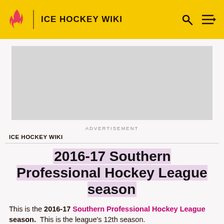ICE HOCKEY WIKI
[Figure (other): Advertisement placeholder box]
ADVERTISEMENT
ICE HOCKEY WIKI
2016-17 Southern Professional Hockey League season
This is the 2016-17 Southern Professional Hockey League season. This is the league's 12th season.